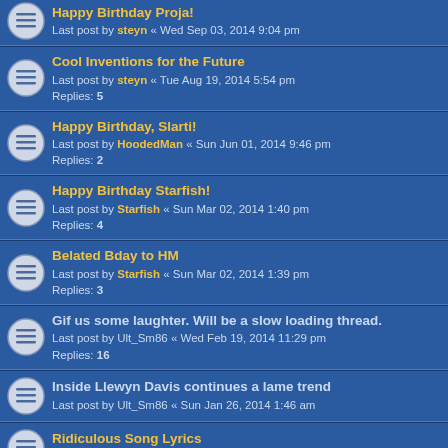Happy Birthday Proja! - Last post by steyn « Wed Sep 03, 2014 9:04 pm
Cool Inventions for the Future - Last post by steyn « Tue Aug 19, 2014 5:54 pm - Replies: 5
Happy Birthday, Slarti! - Last post by HoodedMan « Sun Jun 01, 2014 9:46 pm - Replies: 2
Happy Birthday Starfish! - Last post by Starfish « Sun Mar 02, 2014 1:40 pm - Replies: 4
Belated Bday to HM - Last post by Starfish « Sun Mar 02, 2014 1:39 pm - Replies: 3
Gif us some laughter. Will be a slow loading thread. - Last post by Ult_Sm86 « Wed Feb 19, 2014 11:29 pm - Replies: 16
Inside Llewyn Davis continues a lame trend - Last post by Ult_Sm86 « Sun Jan 26, 2014 1:46 am
Ridiculous Song Lyrics - Last post by Ult_Sm86 « Wed Dec 11, 2013 5:10 am
A Poem by Bman because why not? - Last post by Ult_Sm86 « Wed Nov 13, 2013 4:59 pm
Happy Birthday Scumfish! - Last post by Scumfish « Tue Nov 12, 2013 12:13 am - Replies: 2